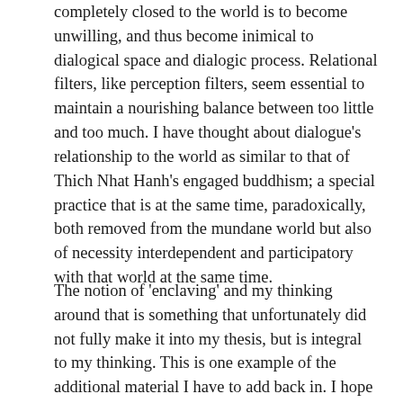completely closed to the world is to become unwilling, and thus become inimical to dialogical space and dialogic process. Relational filters, like perception filters, seem essential to maintain a nourishing balance between too little and too much. I have thought about dialogue's relationship to the world as similar to that of Thich Nhat Hanh's engaged buddhism; a special practice that is at the same time, paradoxically, both removed from the mundane world but also of necessity interdependent and participatory with that world at the same time.
The notion of 'enclaving' and my thinking around that is something that unfortunately did not fully make it into my thesis, but is integral to my thinking. This is one example of the additional material I have to add back in. I hope these systemic and relational analyses are something I can include